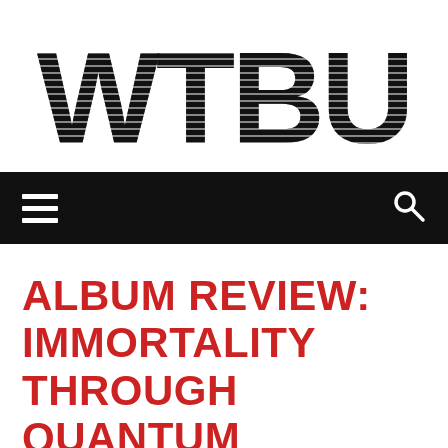[Figure (logo): WTBU logo in large bold black text with horizontal line texture/crosshatch pattern overlay]
☰  🔍
ALBUM REVIEW: IMMORTALITY THROUGH QUANTUM SUICIDE, XYTHLIA